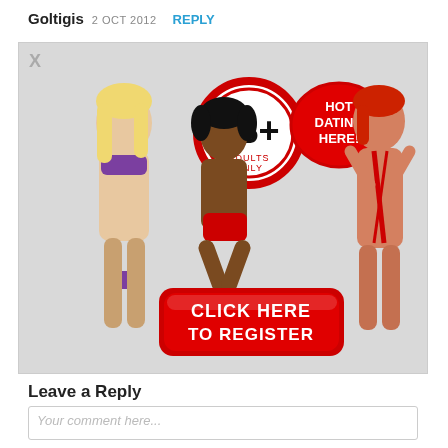Goltigis 2 OCT 2012 REPLY
[Figure (illustration): Adult dating advertisement banner showing three women in lingerie/swimwear, an 18+ Adults Only badge, a HOT DATING HERE! badge, and a red CLICK HERE TO REGISTER button. There is also an X close button in the top-left corner of the ad.]
Leave a Reply
Your comment here...